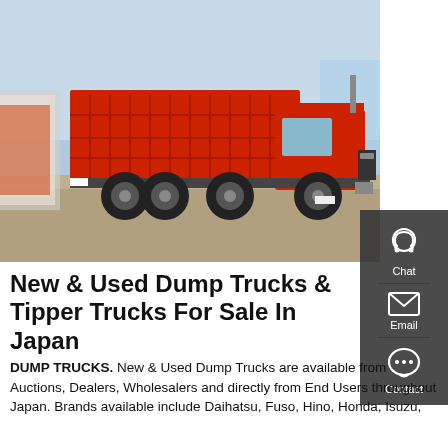[Figure (photo): A large red dump truck / tipper truck parked in a yard, with other trucks visible in the background. Blue sky overhead. Side view showing the red dumper body and large tyres. Chat, Email, Contact sidebar overlay on the right side.]
New & Used Dump Trucks & Tipper Trucks For Sale In Japan
DUMP TRUCKS. New & Used Dump Trucks are available from Auctions, Dealers, Wholesalers and directly from End Users throughout Japan. Brands available include Daihatsu, Fuso, Hino, Honda, Isuzu,